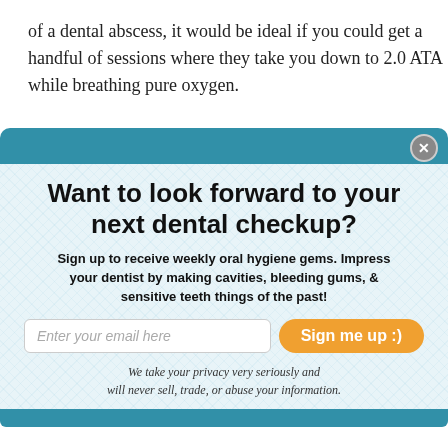of a dental abscess, it would be ideal if you could get a handful of sessions where they take you down to 2.0 ATA while breathing pure oxygen.
[Figure (screenshot): A modal/popup box with a teal header bar and light blue patterned background, containing a newsletter sign-up form for oral hygiene tips. Includes a title 'Want to look forward to your next dental checkup?', a subtitle about oral hygiene gems, an email input field, an orange 'Sign me up :)' button, and a privacy note.]